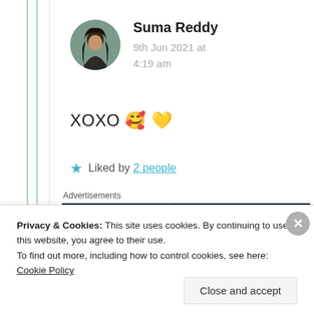Suma Reddy
9th Jun 2021 at 4:19 am
XOXO 🥰 💛
★ Liked by 2 people
Advertisements
[Figure (other): Advertisement banner with dark navy background with dot pattern showing text 'Create surveys, polls, quizzes,']
Privacy & Cookies: This site uses cookies. By continuing to use this website, you agree to their use.
To find out more, including how to control cookies, see here: Cookie Policy
Close and accept